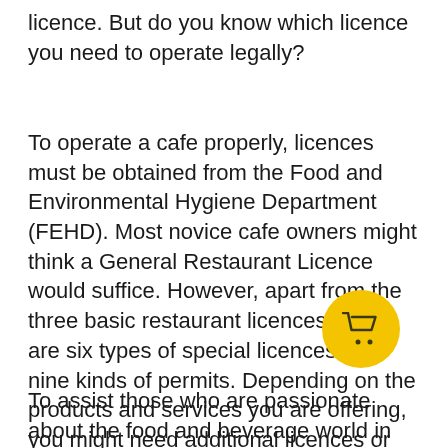licence. But do you know which licence you need to operate legally?
To operate a cafe properly, licences must be obtained from the Food and Environmental Hygiene Department (FEHD). Most novice cafe owners might think a General Restaurant Licence would suffice. However, apart from the three basic restaurant licences, there are six types of special licences and nine kinds of permits. Depending on the products and services you are offering, you might need additional licences or permits. The requirements for different licences also vary depending on the facilities and location of the. To ensure a smooth operation, it is of utmost importance that you rent a space that comes with required hardware.
To assist those who are passionate about the food and beverage world in Hong Kong, Lassana offers licence